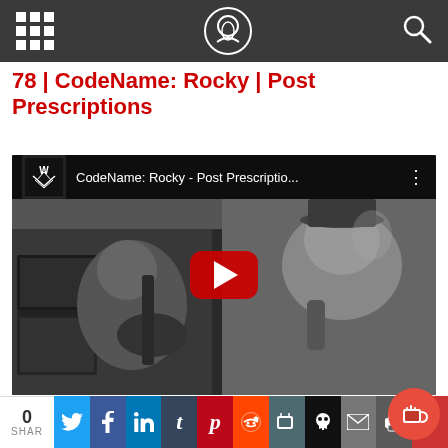Navigation header bar with grid menu icon, site logo, and search icon
78 | CodeName: Rocky | Post Prescriptions
[Figure (screenshot): YouTube embedded video thumbnail showing black and white photo of two musicians — a guitarist on the left and a vocalist on the right — with YouTube player top bar showing 'CodeName: Rocky - Post Prescriptio...' title and a red play button overlay in the center.]
[Figure (other): Red circular coffee/tip button in bottom right corner]
0 SHAR | Share buttons: Twitter, Facebook, LinkedIn, Tumblr, Pinterest, Reddit, Pocket, Skull icon, Email, Print, More